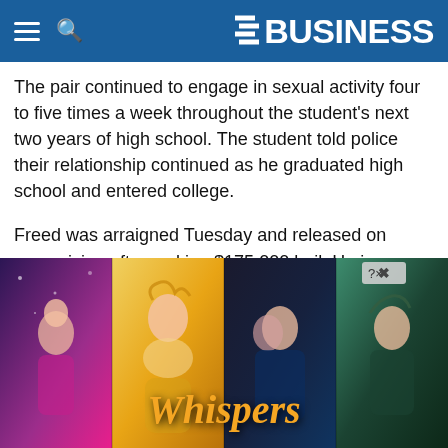BUSINESS
The pair continued to engage in sexual activity four to five times a week throughout the student's next two years of high school. The student told police their relationship continued as he graduated high school and entered college.
Freed was arraigned Tuesday and released on supervision after making $175,000 bail. He is required to wear an ankle monitor at all times and is prohibited from having any contact with minors or the victim.
Freed, who is employed as a principal at Williamsport Area H[igh School, has been placed on leave] by the school[district].
[Figure (illustration): Advertisement overlay for a mobile game called Whispers, showing romantic illustrated characters against colorful backgrounds with a close button in the top right corner.]